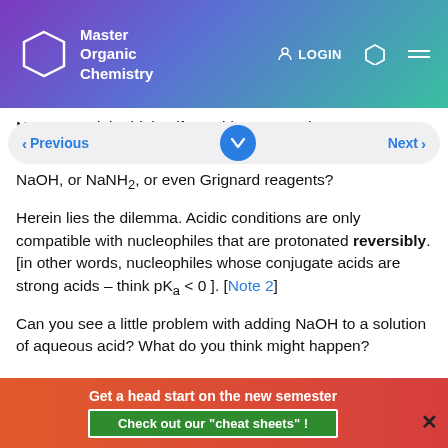Master Organic Chemistry
Now, you might think – if epoxides are made more reactive by protonation, couldn't we just use nucleophiles like NaOH, or NaNH2, or even Grignard reagents?
Herein lies the dilemma. Acidic conditions are only compatible with nucleophiles that are protonated reversibly. [in other words, nucleophiles whose conjugate acids are strong acids – think pKa < 0 ]. [Note 2]
Can you see a little problem with adding NaOH to a solution of aqueous acid? What do you think might happen?
Get a head start on the new semester
Check out our "cheat sheets" !